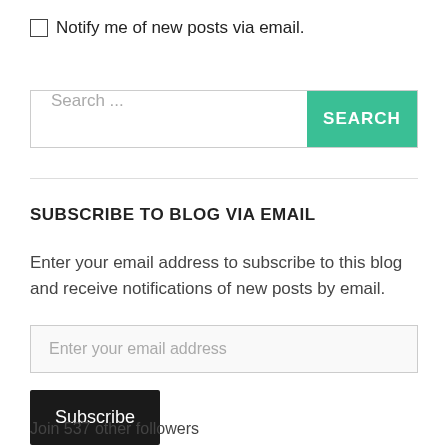Notify me of new posts via email.
[Figure (screenshot): Search bar with text input placeholder 'Search ...' and a teal SEARCH button]
SUBSCRIBE TO BLOG VIA EMAIL
Enter your email address to subscribe to this blog and receive notifications of new posts by email.
[Figure (screenshot): Email input field with placeholder 'Enter your email address']
[Figure (screenshot): Black Subscribe button]
Join 537 other followers